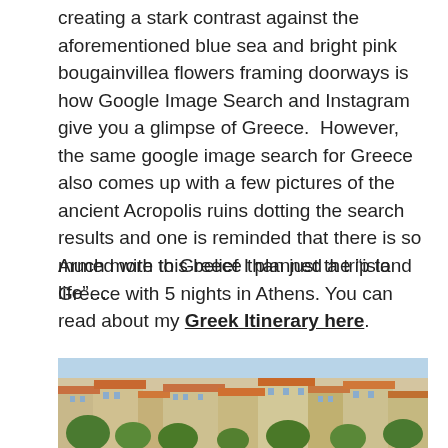creating a stark contrast against the aforementioned blue sea and bright pink bougainvillea flowers framing doorways is how Google Image Search and Instagram give you a glimpse of Greece.  However, the same google image search for Greece also comes up with a few pictures of the ancient Acropolis ruins dotting the search results and one is reminded that there is so much more to Greece than just the “island life”…
Armed with this belief I planned a trip to Greece with 5 nights in Athens. You can read about my Greek Itinerary here.
[Figure (photo): Aerial/elevated view of Athens cityscape showing densely packed buildings with terracotta rooftops and green trees in the foreground.]